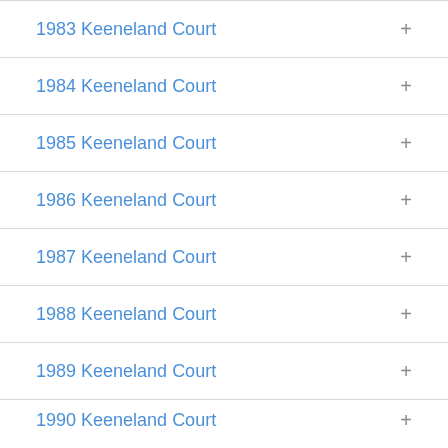1983 Keeneland Court
1984 Keeneland Court
1985 Keeneland Court
1986 Keeneland Court
1987 Keeneland Court
1988 Keeneland Court
1989 Keeneland Court
1990 Keeneland Court